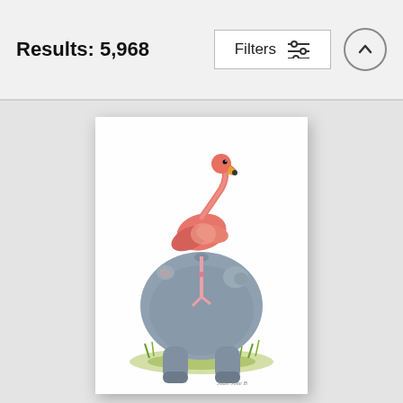Results: 5,968
[Figure (screenshot): UI header bar showing 'Filters' button with sliders icon and an up-arrow circle button]
[Figure (illustration): Watercolor illustration of a flamingo standing on the back of a hippopotamus viewed from behind, standing on green grass. Artist signature visible at bottom right.]